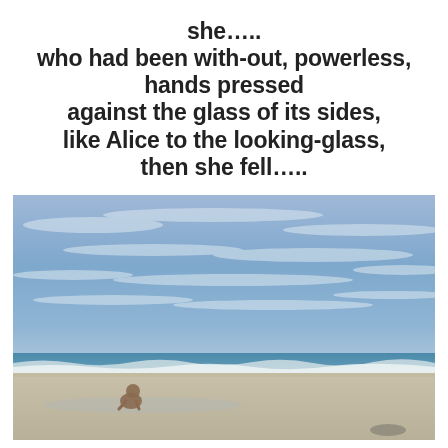she…..
who had been with-out, powerless,
hands pressed
against the glass of its sides,
like Alice to the looking-glass,
then she fell…..
[Figure (photo): A beach scene with blue sky and wispy clouds in the upper portion, a strip of ocean with white waves in the middle distance, a wide sandy beach in the foreground, and a small figure of a person crouching near the water's edge on the lower left area.]